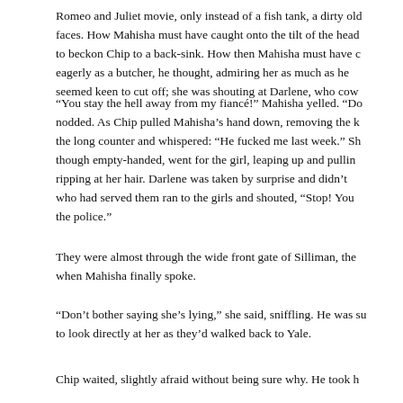Romeo and Juliet movie, only instead of a fish tank, a dirty old faces. How Mahisha must have caught onto the tilt of the head to beckon Chip to a back-sink. How then Mahisha must have c eagerly as a butcher, he thought, admiring her as much as he seemed keen to cut off; she was shouting at Darlene, who cow
“You stay the hell away from my fiancé!” Mahisha yelled. “Do nodded. As Chip pulled Mahisha’s hand down, removing the k the long counter and whispered: “He fucked me last week.” Sh though empty-handed, went for the girl, leaping up and pullin ripping at her hair. Darlene was taken by surprise and didn’t who had served them ran to the girls and shouted, “Stop! You the police.”
They were almost through the wide front gate of Silliman, the when Mahisha finally spoke.
“Don’t bother saying she’s lying,” she said, sniffling. He was su to look directly at her as they’d walked back to Yale.
Chip waited, slightly afraid without being sure why. He took h